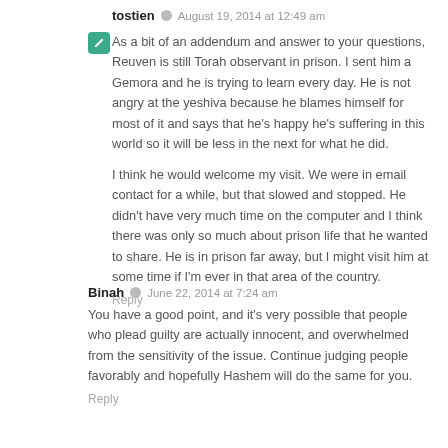tostien · August 19, 2014 at 12:49 am
As a bit of an addendum and answer to your questions, Reuven is still Torah observant in prison. I sent him a Gemora and he is trying to learn every day. He is not angry at the yeshiva because he blames himself for most of it and says that he's happy he's suffering in this world so it will be less in the next for what he did.

I think he would welcome my visit. We were in email contact for a while, but that slowed and stopped. He didn't have very much time on the computer and I think there was only so much about prison life that he wanted to share. He is in prison far away, but I might visit him at some time if I'm ever in that area of the country.
Reply
Binah · June 22, 2014 at 7:24 am
You have a good point, and it's very possible that people who plead guilty are actually innocent, and overwhelmed from the sensitivity of the issue. Continue judging people favorably and hopefully Hashem will do the same for you.
Reply